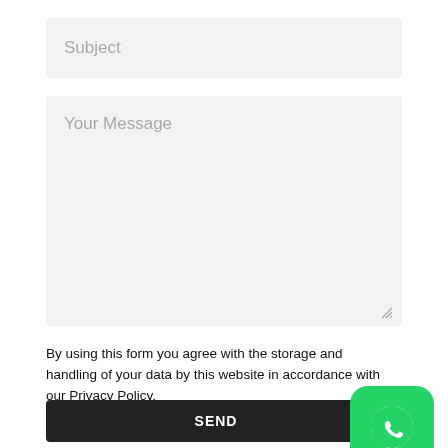Subject
Your Message
By using this form you agree with the storage and handling of your data by this website in accordance with our Privacy Policy.
SEND
[Figure (logo): WhatsApp logo icon on green rounded square button]